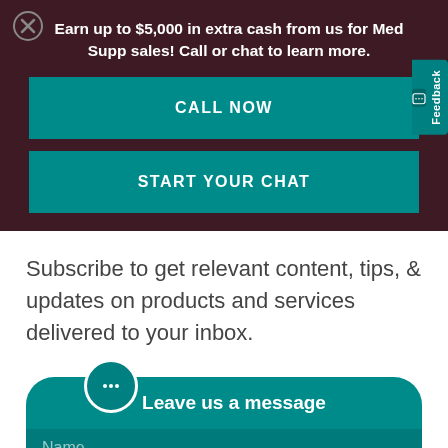Earn up to $5,000 in extra cash from us for Med Supp sales! Call or chat to learn more.
CALL NOW
START YOUR CHAT
Subscribe to get relevant content, tips, & updates on products and services delivered to your inbox.
Leave us a message
Name